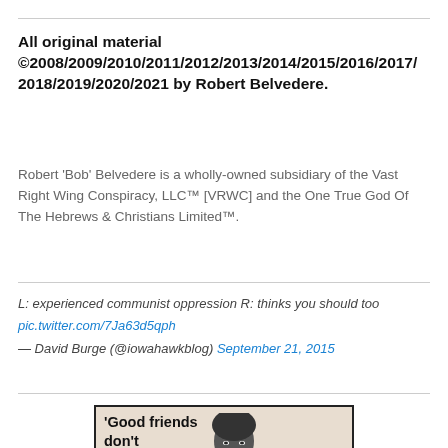All original material ©2008/2009/2010/2011/2012/2013/2014/2015/2016/2017/2018/2019/2020/2021 by Robert Belvedere.
Robert 'Bob' Belvedere is a wholly-owned subsidiary of the Vast Right Wing Conspiracy, LLC™ [VRWC] and the One True God Of The Hebrews & Christians Limited™.
L: experienced communist oppression R: thinks you should too
pic.twitter.com/7Ja63d5qph
— David Burge (@iowahawkblog) September 21, 2015
[Figure (photo): A meme image showing a quote 'Good friends don't let friends...' with a photo of a person on the right side]